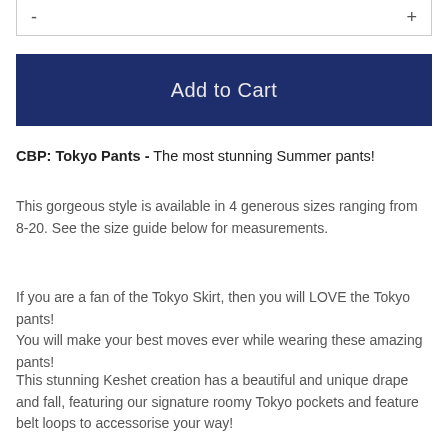| - |  | + |
| --- | --- | --- |
|  |
Add to Cart
CBP: Tokyo Pants - The most stunning Summer pants!
This gorgeous style is available in 4 generous sizes ranging from 8-20. See the size guide below for measurements.
If you are a fan of the Tokyo Skirt, then you will LOVE the Tokyo pants!
You will make your best moves ever while wearing these amazing pants!
This stunning Keshet creation has a beautiful and unique drape and fall, featuring our signature roomy Tokyo pockets and feature belt loops to accessorise your way!